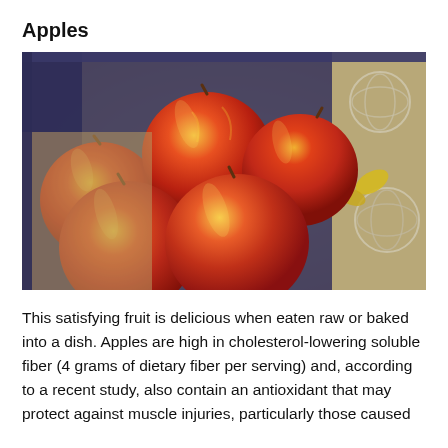Apples
[Figure (photo): Photograph of multiple red and yellow apples arranged in a wooden crate lined with burlap fabric, with decorative wicker balls visible in the background and yellow autumn leaves.]
This satisfying fruit is delicious when eaten raw or baked into a dish. Apples are high in cholesterol-lowering soluble fiber (4 grams of dietary fiber per serving) and, according to a recent study, also contain an antioxidant that may protect against muscle injuries, particularly those caused